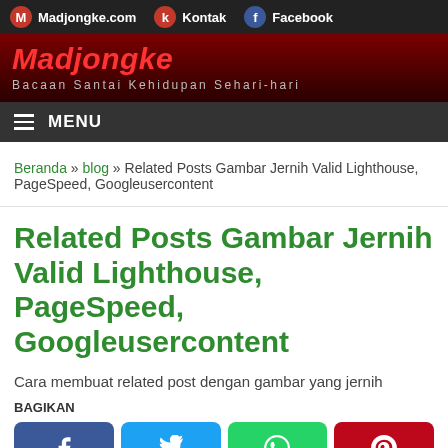Madjongke.com | Kontak | Facebook
Madjongke — Bacaan Santai Kehidupan Sehari-hari
MENU
Beranda » blog » Related Posts Gambar Jernih Valid Lighthouse, PageSpeed, Googleusercontent
Related Posts Gambar Jernih Valid Lighthouse, PageSpeed, Googleusercontent
Cara membuat related post dengan gambar yang jernih
BAGIKAN